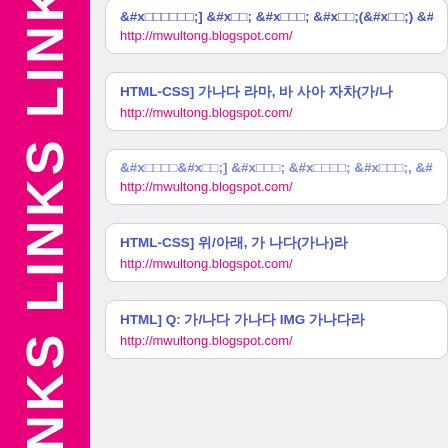[Figure (other): Hot pink vertical sidebar with 'LINKS LINKS LINKS' written vertically in large white bold text]
□□□□□□] □□ □□□ □□(□□) □□; JavaSc
http://mwultong.blogspot.com/
HTML-CSS] □□□ □□, □ □□ □□(□□/□
http://mwultong.blogspot.com/
□□□□□□] □□□ □□□□ □□□, □□□ □□□ □□ □□
http://mwultong.blogspot.com/
HTML-CSS] □□□/□□, □□ □□□(□□)□
http://mwultong.blogspot.com/
HTML] Q: □□/□□□ □□□ IMG □□□□
http://mwultong.blogspot.com/